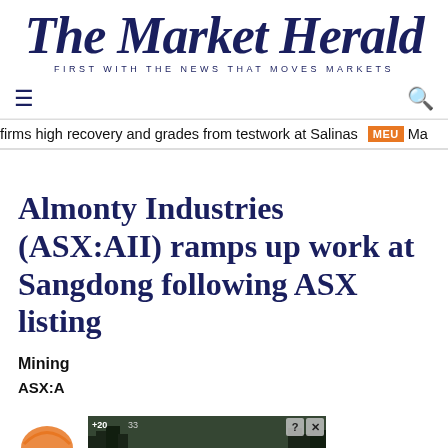The Market Herald
FIRST WITH THE NEWS THAT MOVES MARKETS
firms high recovery and grades from testwork at Salinas  MEU  Ma
Almonty Industries (ASX:AII) ramps up work at Sangdong following ASX listing
Mining
ASX:A
[Figure (screenshot): An advertisement banner showing a dark background with trees and a person icon in blue, with text 'Hold and Move', question mark and X close buttons in top right.]